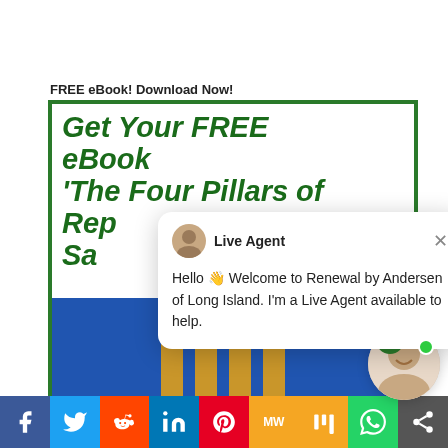FREE eBook! Download Now!
[Figure (screenshot): Promotional ebook box with dark green border showing 'Get Your FREE eBook The Four Pillars of Reputation Sales' in large bold italic green text, with a blue book image at the bottom showing golden pillars and the word 'action']
[Figure (screenshot): Live agent chat popup with avatar, agent name 'Live Agent', close button (X), and message: 'Hello Welcome to Renewal by Andersen of Long Island. I'm a Live Agent available to help.']
[Figure (screenshot): Chat widget bubble at bottom right with agent face photo, green badge showing '1', and green online dot]
[Figure (infographic): Social share bar with 9 buttons: Facebook (blue), Twitter (light blue), Reddit (orange), LinkedIn (dark blue), Pinterest (red), MixedWrench/MW (yellow-orange), Mix (yellow-orange), WhatsApp (green), Share (dark gray)]